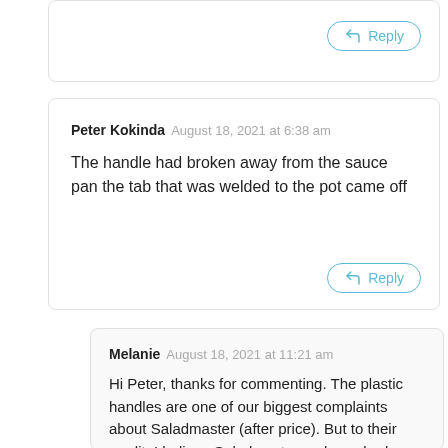Reply button (top card partial)
Peter Kokinda — August 18, 2021 at 6:38 am
The handle had broken away from the sauce pan the tab that was welded to the pot came off
Melanie — August 18, 2021 at 11:21 am
Hi Peter, thanks for commenting. The plastic handles are one of our biggest complaints about Saladmaster (after price). But to their credit, I believe Saladmaster replaces broken handles